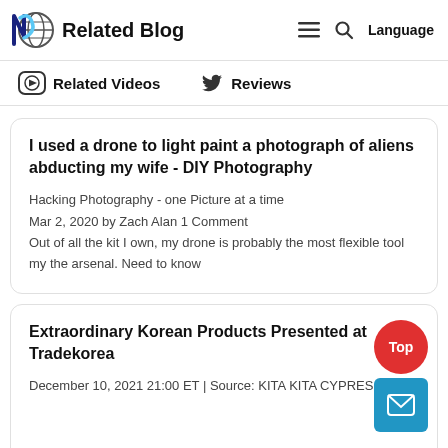Related Blog
Related Videos   Reviews
I used a drone to light paint a photograph of aliens abducting my wife - DIY Photography
Hacking Photography - one Picture at a time
Mar 2, 2020 by Zach Alan 1 Comment
Out of all the kit I own, my drone is probably the most flexible tool my the arsenal. Need to know
Extraordinary Korean Products Presented at Tradekorea
December 10, 2021 21:00 ET | Source: KITA KITA CYPRES